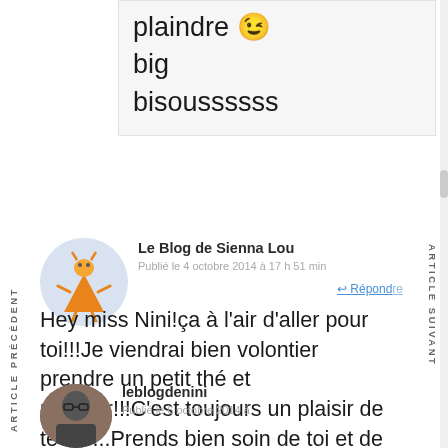plaindre 😉
big
bisoussssss
ARTICLE PRÉCÉDENT
ARTICLE SUIVANT
Le Blog de Sienna Lou
Publié le 4 octobre 2014 à 17 h 51 min
Répondre
Hey miss Nini!ça à l'air d'aller pour toi!!!Je viendrai bien volontier prendre un petit thé et papoter!!!C'est toujours un plaisir de te lire...Prends bien soin de toi et de ton bibou!Bisous
leblogdenini
Publié le 6 octobre 2014 à